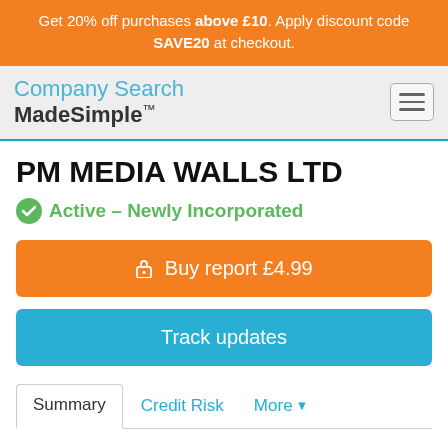Get 20% off purchases above £10. Apply discount code SAVE20 at checkout.
[Figure (logo): Company Search MadeSimple logo with hamburger menu icon]
PM MEDIA WALLS LTD
Active – Newly Incorporated
Buy report £4.99
Track updates
Summary   Credit Risk   More ▼